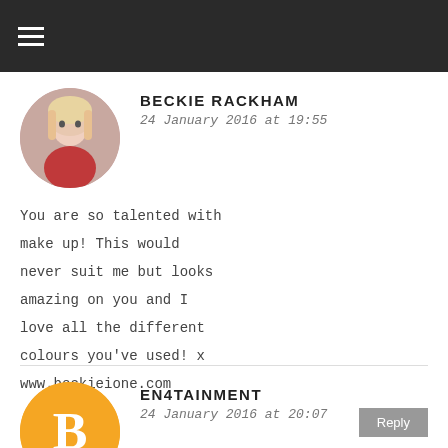BECKIE RACKHAM
24 January 2016 at 19:55
You are so talented with make up! This would never suit me but looks amazing on you and I love all the different colours you've used! x
www.beckieione.com
EN4TAINMENT
24 January 2016 at 20:07